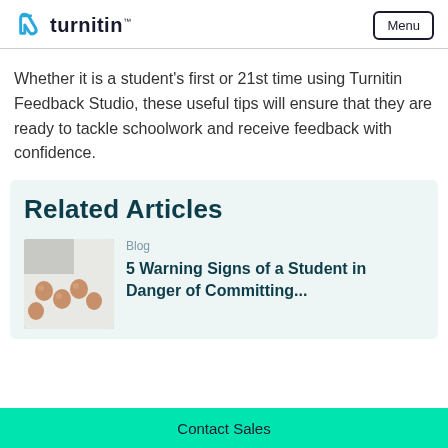turnitin
Whether it is a student's first or 21st time using Turnitin Feedback Studio, these useful tips will ensure that they are ready to tackle schoolwork and receive feedback with confidence.
Related Articles
Blog
5 Warning Signs of a Student in Danger of Committing...
Contact Sales